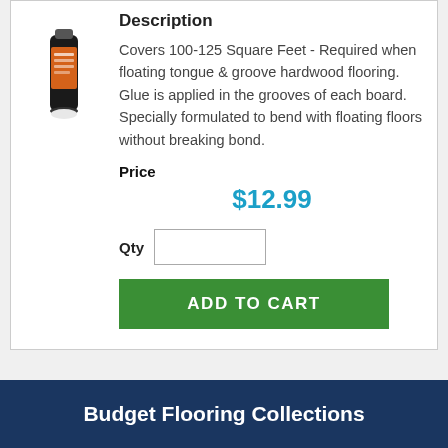[Figure (photo): Product image of a bottle/tube of flooring glue adhesive, dark bottle with orange label]
Description
Covers 100-125 Square Feet - Required when floating tongue & groove hardwood flooring. Glue is applied in the grooves of each board. Specially formulated to bend with floating floors without breaking bond.
Price
$12.99
Qty
ADD TO CART
Budget Flooring Collections